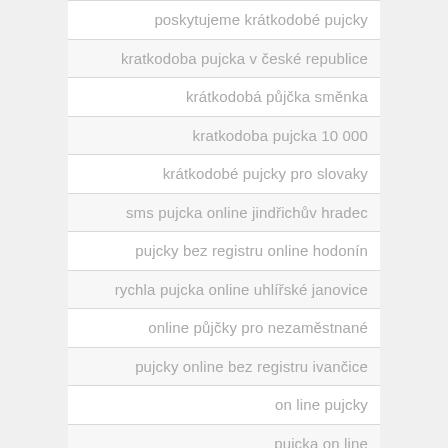| poskytujeme krátkodobé pujcky |
| kratkodoba pujcka v české republice |
| krátkodobá půjčka směnka |
| kratkodoba pujcka 10 000 |
| krátkodobé pujcky pro slovaky |
| sms pujcka online jindřichův hradec |
| pujcky bez registru online hodonín |
| rychla pujcka online uhlířské janovice |
| online půjčky pro nezaměstnané |
| pujcky online bez registru ivančice |
| on line pujcky |
| puicka on line |